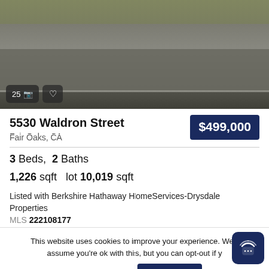[Figure (photo): Street-level photo of a residential property showing a road and landscaping at 5530 Waldron Street, Fair Oaks, CA]
5530 Waldron Street
Fair Oaks, CA
$499,000
3 Beds,  2 Baths
1,226 sqft   lot 10,019 sqft
Listed with Berkshire Hathaway HomeServices-Drysdale Properties
MLS 222108177
This website uses cookies to improve your experience. We'll assume you're ok with this, but you can opt-out if y
Cookie Settings
ACCEPT